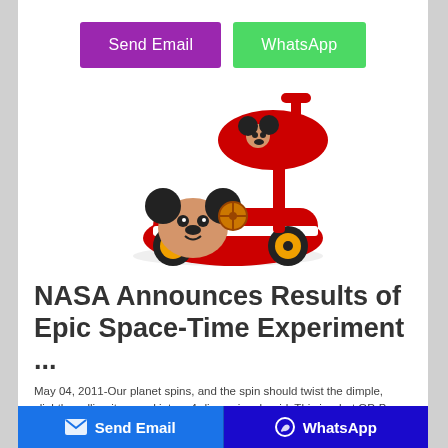[Figure (other): Two buttons: 'Send Email' (purple) and 'WhatsApp' (green)]
[Figure (photo): A Mickey Mouse themed children's ride-on toy car with a spinning top attachment, red and black colors with yellow wheels]
NASA Announces Results of Epic Space-Time Experiment ...
May 04, 2011-Our planet spins, and the spin should twist the dimple, slightly, pulling it around into a 4-dimensional swirl. This is what GP-B went to space in 2004 to check. The idea behind the experiment is simple: Put a spinning gyroscope into orbit around the Earth,
[Figure (other): Bottom navigation bar with 'Send Email' button (blue, left) and 'WhatsApp' button (dark blue, right)]